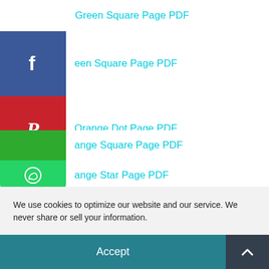Green Square Page PDF
een Square Page PDF
Orange Dot Page PDF
ange Heart Page PDF
ange Hexagon Page PDF
ange Square Page PDF
ange Star Page PDF
We use cookies to optimize our website and our service. We never share or sell your information.
Accept